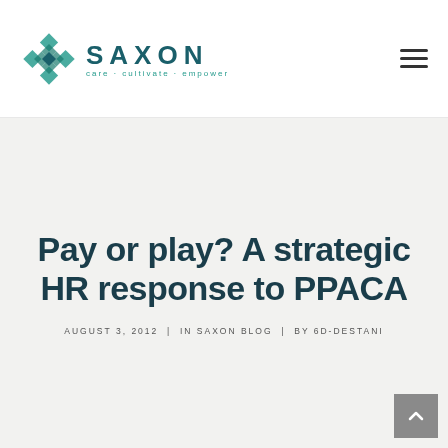[Figure (logo): Saxon logo with geometric diamond/cross pattern in teal and the text SAXON with tagline care · cultivate · empower]
Pay or play? A strategic HR response to PPACA
AUGUST 3, 2012  |  IN SAXON BLOG  |  BY 6D-DESTANI